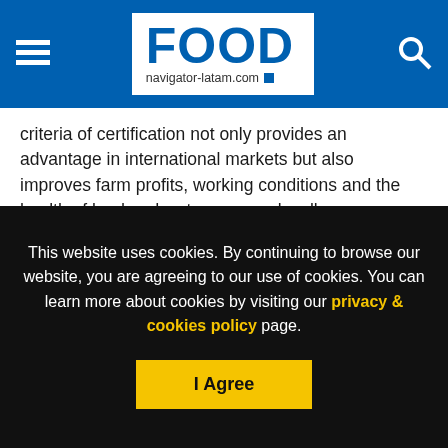FOOD navigator-latam.com
criteria of certification not only provides an advantage in international markets but also improves farm profits, working conditions and the health of land and water sources locally.
Breaking from the past
The initiative teaches farmers new sustainable farming techniques to change negative practices of the first European immigrant farmers who tilled the ground every year as they had back home, depleting the soil of important nutrients.
This website uses cookies. By continuing to browse our website, you are agreeing to our use of cookies. You can learn more about cookies by visiting our privacy & cookies policy page.